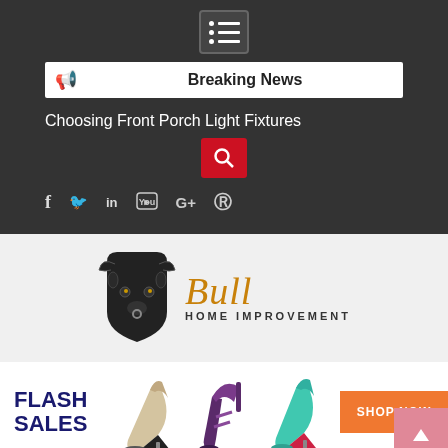[Figure (screenshot): Navigation menu icon (hamburger with dots) in dark header bar]
Breaking News
Choosing Front Porch Light Fixtures
[Figure (other): Red search button with magnifying glass icon]
[Figure (other): Social media icons: f (Facebook), bird (Twitter), in (LinkedIn), YouTube, G+ (Google Plus), Pinterest]
[Figure (logo): Bull Home Improvement logo with bull icon and golden italic Bull text]
[Figure (infographic): Flash Sales banner with high heel shoes and orange SHOP NOW button]
Home > Home Improvement >